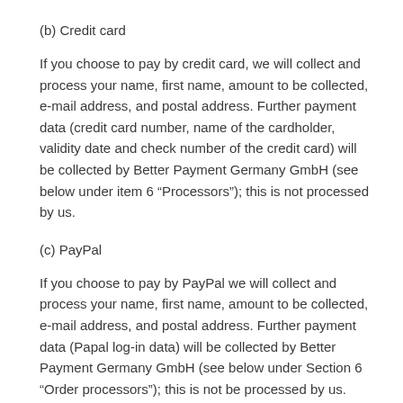(b) Credit card
If you choose to pay by credit card, we will collect and process your name, first name, amount to be collected, e-mail address, and postal address. Further payment data (credit card number, name of the cardholder, validity date and check number of the credit card) will be collected by Better Payment Germany GmbH (see below under item 6 “Processors”); this is not processed by us.
(c) PayPal
If you choose to pay by PayPal we will collect and process your name, first name, amount to be collected, e-mail address, and postal address. Further payment data (Papal log-in data) will be collected by Better Payment Germany GmbH (see below under Section 6 “Order processors”); this is not be processed by us.
Please note that the data processing that takes place when